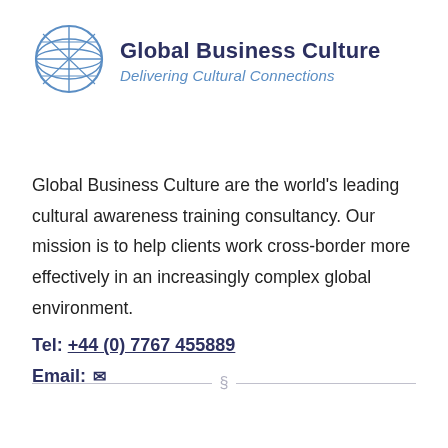[Figure (logo): Globe icon with grid lines in blue, representing Global Business Culture logo]
Global Business Culture
Delivering Cultural Connections
Global Business Culture are the world's leading cultural awareness training consultancy. Our mission is to help clients work cross-border more effectively in an increasingly complex global environment.
Tel: +44 (0) 7767 455889
Email: [envelope icon]